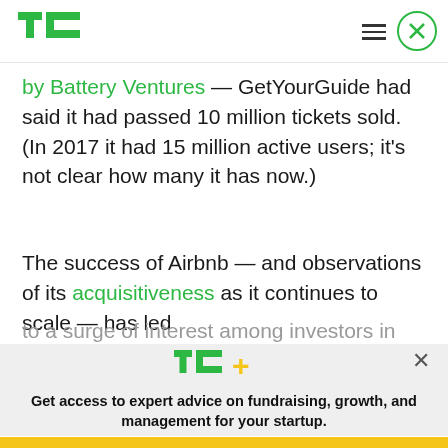[Figure (logo): TechCrunch TC green logo in header]
by Battery Ventures — GetYourGuide had said it had passed 10 million tickets sold. (In 2017 it had 15 million active users; it's not clear how many it has now.)
The success of Airbnb — and observations of its acquisitiveness as it continues to scale — has led to a surge of interest among investors in other fast-
[Figure (logo): TC+ TechCrunch Plus logo in paywall modal]
Get access to expert advice on fundraising, growth, and management for your startup.
EXPLORE NOW